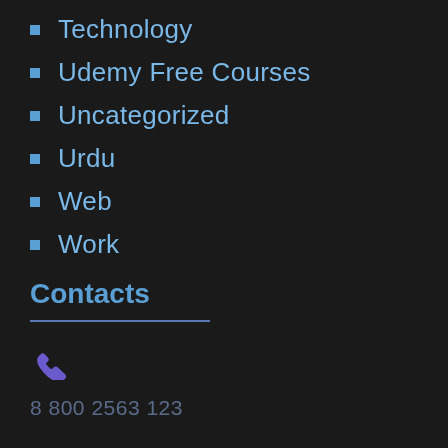Technology
Udemy Free Courses
Uncategorized
Urdu
Web
Work
Contacts
8 800 2563 123
emil@yoursite.com